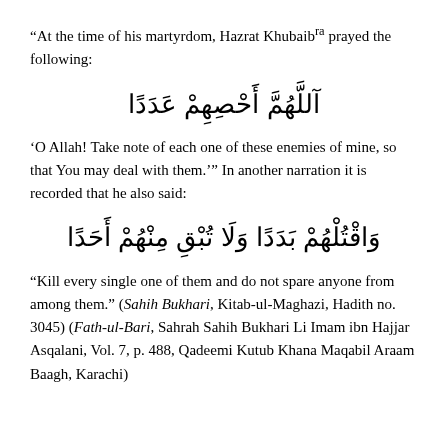“At the time of his martyrdom, Hazrat Khubaibra prayed the following:
‘O Allah! Take note of each one of these enemies of mine, so that You may deal with them.’” In another narration it is recorded that he also said:
“Kill every single one of them and do not spare anyone from among them.” (Sahih Bukhari, Kitab-ul-Maghazi, Hadith no. 3045) (Fath-ul-Bari, Sahrah Sahih Bukhari Li Imam ibn Hajjar Asqalani, Vol. 7, p. 488, Qadeemi Kutub Khana Maqabil Araam Baagh, Karachi)